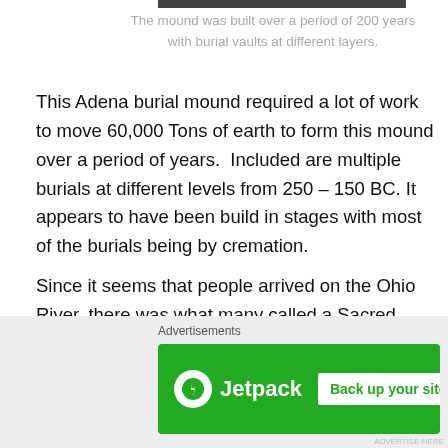[Figure (photo): Top edge of a photograph visible at the top of the page]
The mound was built over a period of 200 years with burial vaults at different layers.
This Adena burial mound required a lot of work to move 60,000 Tons of earth to form this mound over a period of years.  Included are multiple burials at different levels from 250 – 150 BC. It appears to have been build in stages with most of the burials being by cremation.
Since it seems that people arrived on the Ohio River, there was what many called a Sacred Way leading from the river to The Mound. But the Way didn't stop there, as it turned at right angles to an octagon shape, which is no longer in existence. This Sacred Way was actually paved back 200
[Figure (other): Jetpack advertisement banner: green background with Jetpack logo and 'Back up your site' button]